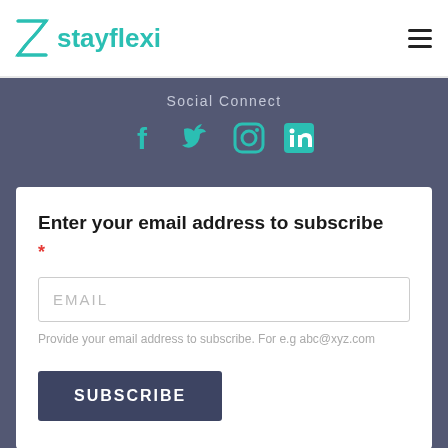[Figure (logo): Stayflexi logo with hourglass icon in teal and brand name text]
Social Connect
[Figure (infographic): Social media icons: Facebook, Twitter, Instagram, LinkedIn in teal color]
Enter your email address to subscribe
*
EMAIL
Provide your email address to subscribe. For e.g abc@xyz.com
SUBSCRIBE